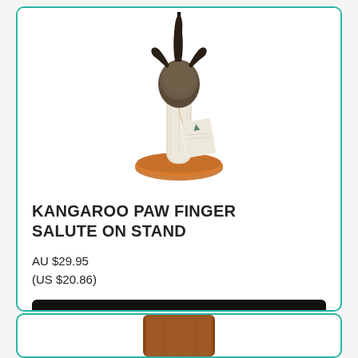[Figure (photo): A kangaroo paw (taxidermy) mounted upright on a round wooden slice stand, with a product tag attached. The paw is raised in a 'finger salute' gesture, showing claws and fur.]
KANGAROO PAW FINGER SALUTE ON STAND
AU $29.95
(US $20.86)
Add to Cart
[Figure (photo): Partial view of a brown leather or suede item at the bottom of the page, cut off.]